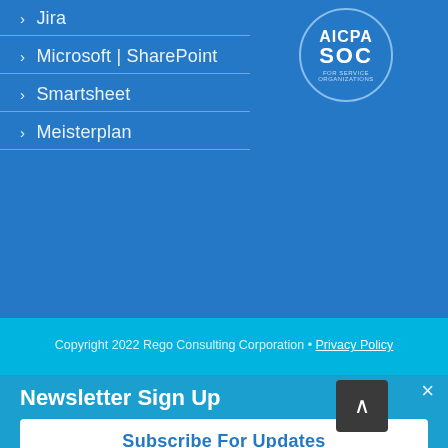> Jira
> Microsoft | SharePoint
> Smartsheet
> Meisterplan
[Figure (logo): AICPA SOC certification badge/seal, circular, blue border on blue background]
Copyright 2022 Rego Consulting Corporation • Privacy Policy
Newsletter Sign Up
Subscribe For Updates